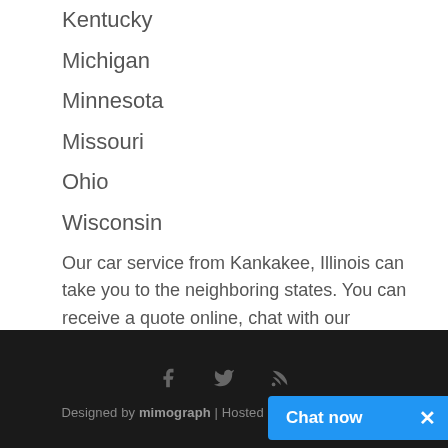Kentucky
Michigan
Minnesota
Missouri
Ohio
Wisconsin
Our car service from Kankakee, Illinois can take you to the neighboring states. You can receive a quote online, chat with our representative, or strike a limo deal over the phone 312-972-9900.
Designed by mimograph | Hosted by WebhostingStar